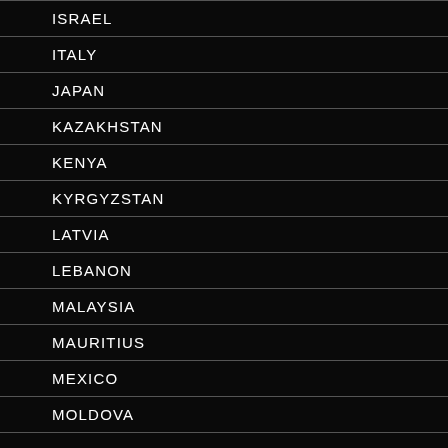ISRAEL
ITALY
JAPAN
KAZAKHSTAN
KENYA
KYRGYZSTAN
LATVIA
LEBANON
MALAYSIA
MAURITIUS
MEXICO
MOLDOVA